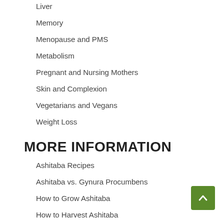Liver
Memory
Menopause and PMS
Metabolism
Pregnant and Nursing Mothers
Skin and Complexion
Vegetarians and Vegans
Weight Loss
MORE INFORMATION
Ashitaba Recipes
Ashitaba vs. Gynura Procumbens
How to Grow Ashitaba
How to Harvest Ashitaba
How to Prepare Ashitaba Tea